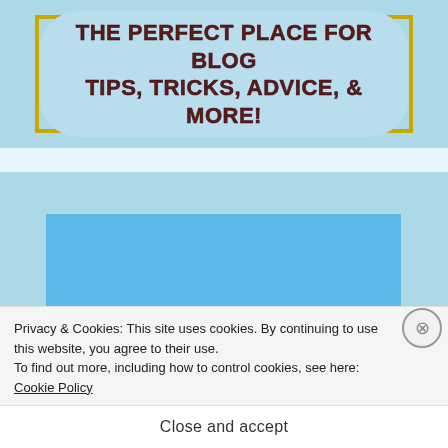[Figure (illustration): Blog banner with light blue background and gold border containing text 'THE PERFECT PLACE FOR BLOG TIPS, TRICKS, ADVICE, & MORE!' on a rounded pill-shaped background]
[Figure (screenshot): Light blue section with a solid blue rectangle (content area placeholder)]
Privacy & Cookies: This site uses cookies. By continuing to use this website, you agree to their use.
To find out more, including how to control cookies, see here:
Cookie Policy
Close and accept